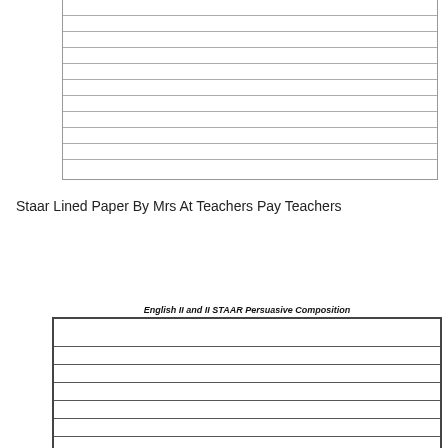[Figure (other): Lined writing paper (top portion visible) with horizontal ruled lines inside a bordered box]
Staar Lined Paper By Mrs At Teachers Pay Teachers
[Figure (other): English II and II STAAR Persuasive Composition lined writing paper with bold border and ruled lines, title centered above]